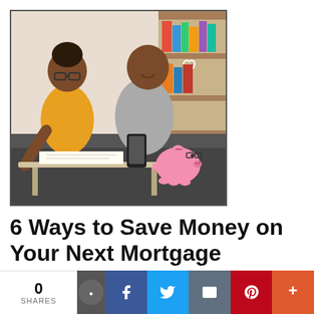[Figure (photo): A couple sitting together at a coffee table, smiling and looking at a smartphone. A woman with glasses and a yellow top is writing notes, and a pink piggy bank with glasses sits on the table. Bookshelf in the background.]
6 Ways to Save Money on Your Next Mortgage
Mortgage interest rates have jumped more than two full percentage points in the past year and with home prices growing at record high paces, buying a home might seem more out of reach than ever for some people. The good news is that there are smart ways t